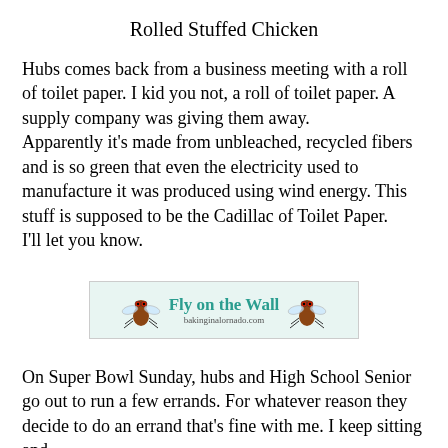Rolled Stuffed Chicken
Hubs comes back from a business meeting with a roll of toilet paper. I kid you not, a roll of toilet paper. A supply company was giving them away.
Apparently it’s made from unbleached, recycled fibers and is so green that even the electricity used to manufacture it was produced using wind energy. This stuff is supposed to be the Cadillac of Toilet Paper.
I’ll let you know.
[Figure (logo): Fly on the Wall banner logo with cartoon fly illustrations and text reading 'Fly on the Wall' with URL 'bakinginalornado.com']
On Super Bowl Sunday, hubs and High School Senior go out to run a few errands. For whatever reason they decide to do an errand that’s fine with me. I keep sitting and